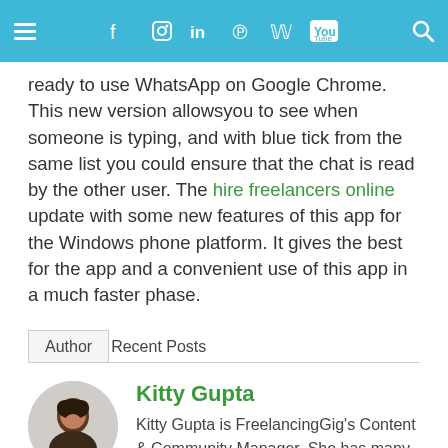≡  f  ◎  in  P  𝕎  YouTube  🔍
ready to use WhatsApp on Google Chrome. This new version allowsyou to see when someone is typing, and with blue tick from the same list you could ensure that the chat is read by the other user. The hire freelancers online update with some new features of this app for the Windows phone platform. It gives the best for the app and a convenient use of this app in a much faster phase.
Author   Recent Posts
Kitty Gupta
Kitty Gupta is FreelancingGig's Content & Community Manager. She has many years experience writing for reputable platforms with her engineering and communications background.
[Figure (photo): Circular profile photo of Kitty Gupta, a woman with dark hair against a light background.]